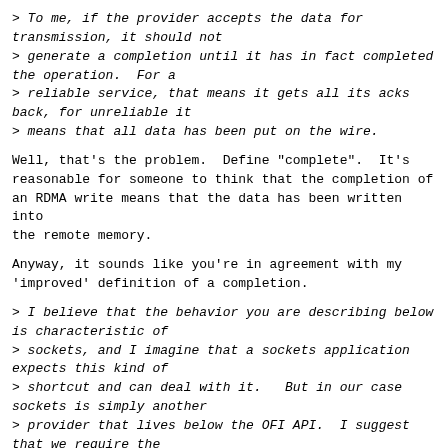> To me, if the provider accepts the data for transmission, it should not
> generate a completion until it has in fact completed the operation.  For a
> reliable service, that means it gets all its acks back, for unreliable it
> means that all data has been put on the wire.
Well, that's the problem.  Define "complete".  It's reasonable for someone to think that the completion of an RDMA write means that the data has been written into the remote memory.
Anyway, it sounds like you're in agreement with my 'improved' definition of a completion.
> I believe that the behavior you are describing below is characteristic of
> sockets, and I imagine that a sockets application expects this kind of
> shortcut and can deal with it.   But in our case sockets is simply another
> provider that lives below the OFI API.  I suggest that we require the
> behavior that is exposed to the application to be consistent (i.e. no
> completion until the data is actually transmitted) and therefore force the
> sockets provider to deal with the fact that it somehow has to actually...